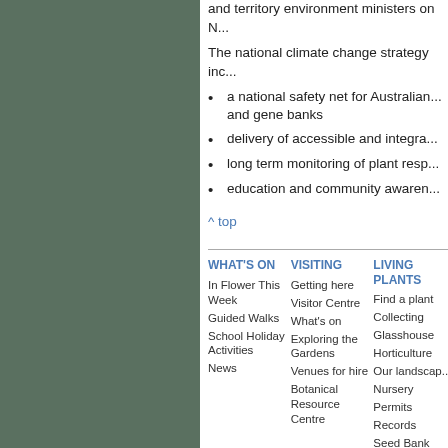and territory environment ministers on N...
The national climate change strategy inc...
a national safety net for Australian... and gene banks
delivery of accessible and integra...
long term monitoring of plant resp...
education and community awaren...
^ top
| WHAT'S ON | VISITING | LIVING PLANTS |
| --- | --- | --- |
| In Flower This Week | Getting here | Find a plant |
| Guided Walks | Visitor Centre | Collecting |
| School Holiday Activities | What's on | Glasshouse |
| News | Exploring the Gardens | Horticulture |
|  | Venues for hire | Our landscap... |
|  | Botanical Resource Centre | Nursery |
|  |  | Permits |
|  |  | Records |
|  |  | Seed Bank |
|  |  | Themes |
|  |  | Water |